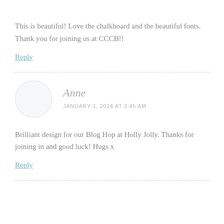This is beautiful! Love the chalkboard and the beautiful fonts. Thank you for joining us at CCCB!!
Reply
Anne
JANUARY 1, 2014 AT 3:45 AM
Brilliant design for our Blog Hop at Holly Jolly. Thanks for joining in and good luck! Hugs x
Reply